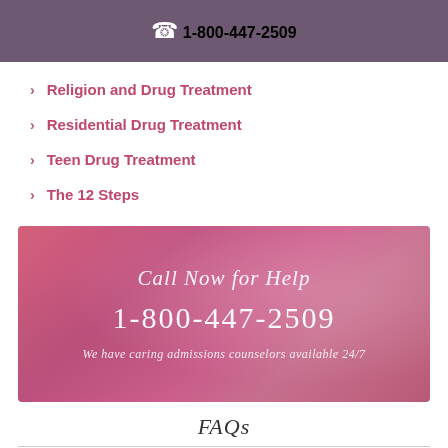1-800-447-2509
Religion and Drug Treatment
Residential Drug Treatment
Teen Drug Treatment
The 12 Steps
[Figure (infographic): Pink/magenta watercolor-style banner with italic serif text 'Call Now for Help', large phone number '1-800-447-2509', and italic text 'We have caring admissions counselors available 24/7']
FAQs